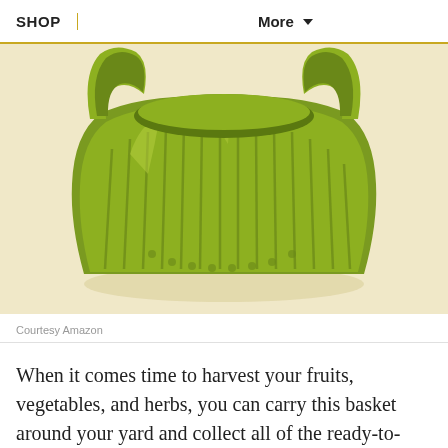SHOP  More
[Figure (photo): A lime-green plastic colander/basket with handles and slotted sides, displayed on a pale yellow background.]
Courtesy Amazon
When it comes time to harvest your fruits, vegetables, and herbs, you can carry this basket around your yard and collect all of the ready-to-pick items. Once you're back inside, you can run the plants under your kitchen faucet while they're still in